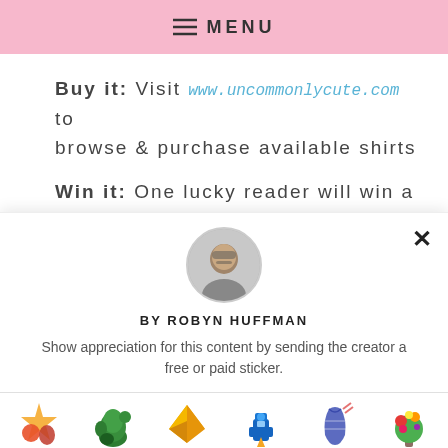MENU
Buy it: Visit www.uncommonlycute.com to browse & purchase available shirts
Win it: One lucky reader will win a
[Figure (photo): Circular avatar photo of Robyn Huffman]
BY ROBYN HUFFMAN
Show appreciation for this content by sending the creator a free or paid sticker.
[Figure (illustration): Six sticker options: Free (star/mushroom), $1.00 (dinosaur), $2.00 (origami crane), $4.00 (robot), $8.00 (knitted sock), $12.00 (flower bouquet)]